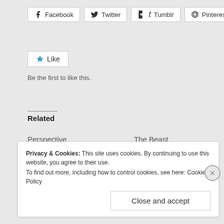[Figure (other): Social share buttons: Facebook, Twitter, Tumblr, Pinterest]
[Figure (other): Like button with star icon]
Be the first to like this.
Related
Perspective
October 28, 2016
In "Fiction"
The Beast
February 13, 2014
In "D/s"
Enough
April 6, 2019
Privacy & Cookies: This site uses cookies. By continuing to use this website, you agree to their use.
To find out more, including how to control cookies, see here: Cookie Policy
Close and accept